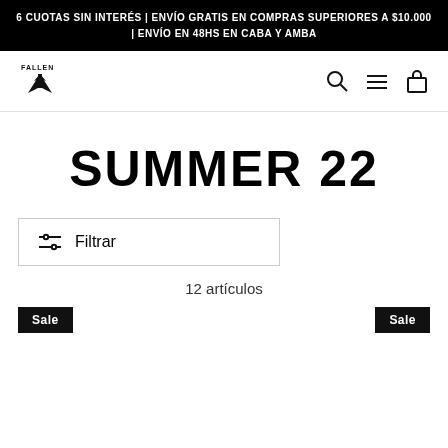6 CUOTAS SIN INTERÉS | ENVÍO GRATIS EN COMPRAS SUPERIORES A $10.000 | ENVÍO EN 48HS EN CABA Y AMBA
[Figure (logo): Fallen brand logo with stylized F and wings, text FALLEN above]
SUMMER 22
Filtrar
12 artículos
Sale
Sale